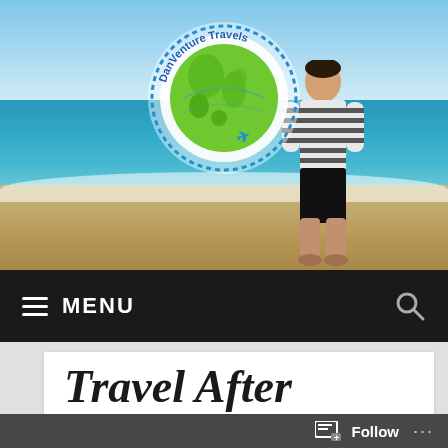[Figure (photo): Hero banner showing a beach scene with blue sky, turquoise ocean, sandy shore, and a person standing with back to camera wearing striped shirt and dark shorts. DanVenture Travels circular logo overlaid in center.]
[Figure (logo): DanVenture Travels circular logo with green world map graphic, blue dotted border ring, blue text around edge reading 'DanVenture Travels', and a small blue airplane icon at bottom.]
≡ MENU
Travel After